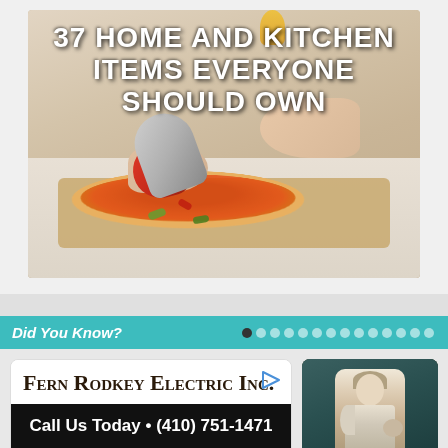[Figure (photo): Photo of a person cutting pizza with a red pizza cutter on a cutting board. Text overlay reads '37 HOME AND KITCHEN ITEMS EVERYONE SHOULD OWN'.]
37 HOME AND KITCHEN ITEMS EVERYONE SHOULD OWN
Did You Know?
[Figure (photo): Advertisement for Fern Rodkey Electric Inc. with call to action: Call Us Today · (410) 751-1471]
[Figure (photo): Vintage black and white photo of a woman in period costume, partially visible on right side.]